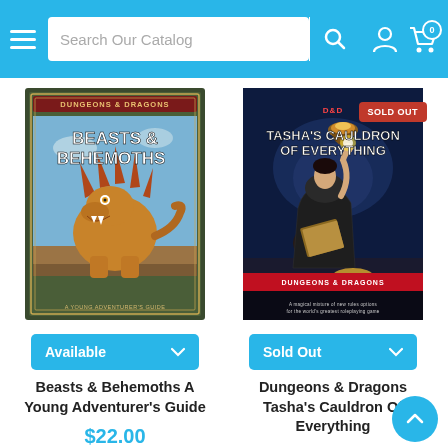Search Our Catalog
[Figure (illustration): Book cover: Dungeons & Dragons Beasts & Behemoths A Young Adventurer's Guide — shows a large spiky dragon-like beast on a green bordered cover]
[Figure (illustration): Book cover: Dungeons & Dragons Tasha's Cauldron of Everything — shows a figure in dark robes holding a cauldron with flames, with SOLD OUT badge]
Available
Sold Out
Beasts & Behemoths A Young Adventurer's Guide
Dungeons & Dragons Tasha's Cauldron Of Everything
$22.00
$55.00